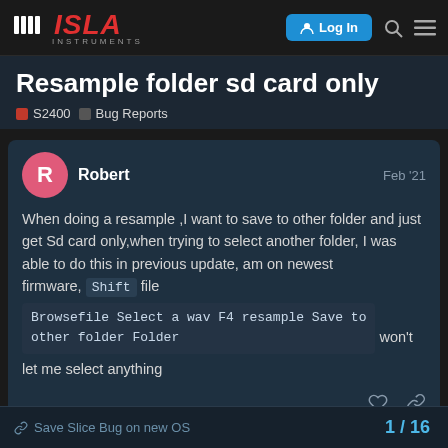Isla Instruments — Log In
Resample folder sd card only
S2400  Bug Reports
Robert  Feb '21
When doing a resample ,I want to save to other folder and just get Sd card only,when trying to select another folder, I was able to do this in previous update, am on newest firmware, Shift file
Browsefile Select a wav F4 resample Save to other folder Folder won't let me select anything
Save Slice Bug on new OS  1 / 16